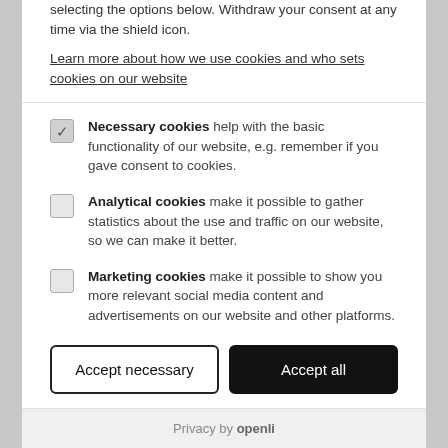selecting the options below. Withdraw your consent at any time via the shield icon.
Learn more about how we use cookies and who sets cookies on our website
Necessary cookies help with the basic functionality of our website, e.g. remember if you gave consent to cookies.
Analytical cookies make it possible to gather statistics about the use and traffic on our website, so we can make it better.
Marketing cookies make it possible to show you more relevant social media content and advertisements on our website and other platforms.
Accept necessary
Accept all
Privacy by openli